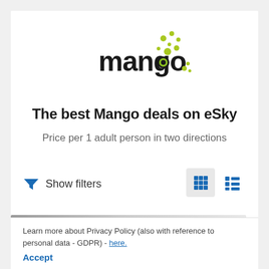[Figure (logo): Mango airline logo with stylized lowercase 'mango' text in black with green circular dots accent]
The best Mango deals on eSky
Price per 1 adult person in two directions
Show filters
[Figure (other): View toggle buttons: grid view (active, highlighted) and list view icons]
Learn more about Privacy Policy (also with reference to personal data - GDPR) - here.
Accept